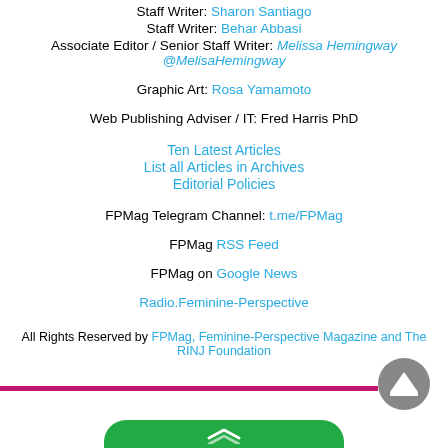Staff Writer: Sharon Santiago
Staff Writer: Behar Abbasi
Associate Editor / Senior Staff Writer: Melissa Hemingway @MelisaHemingway
Graphic Art: Rosa Yamamoto
Web Publishing Adviser / IT: Fred Harris PhD
Ten Latest Articles
List all Articles in Archives
Editorial Policies
FPMag Telegram Channel: t.me/FPMag
FPMag RSS Feed
FPMag on Google News
Radio.Feminine-Perspective
All Rights Reserved by FPMag, Feminine-Perspective Magazine and The RINJ Foundation
[Figure (other): Scroll-to-top button (grey circle with triangle/play icon) and a magenta/pink horizontal bar separator, plus a partial green rounded button at the bottom edge]